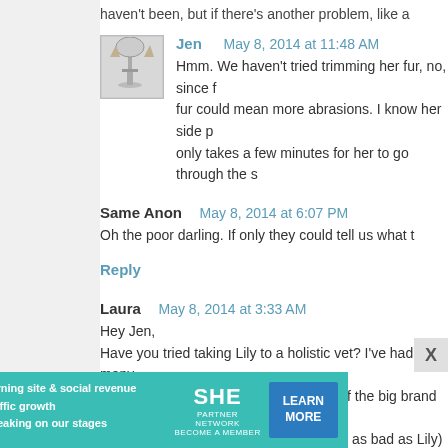haven't been, but if there's another problem, like a
Jen   May 8, 2014 at 11:48 AM
Hmm. We haven't tried trimming her fur, no, since fur could mean more abrasions. I know her side p only takes a few minutes for her to go through the s
Same Anon  May 8, 2014 at 6:07 PM
Oh the poor darling. If only they could tell us what t
Reply
Laura  May 8, 2014 at 3:33 AM
Hey Jen,
Have you tried taking Lily to a holistic vet? I've had many allergin free diets you've tried but a lot of the big brand "pre my guy who overgrooms (admittedly not as bad as Lily) N him up.
[Figure (infographic): SHE Partner Network advertisement banner with teal background, woman photo, bullet points about Earning site & social revenue, Traffic growth, Speaking on our stages, SHE Partner Network logo, and Learn More button]